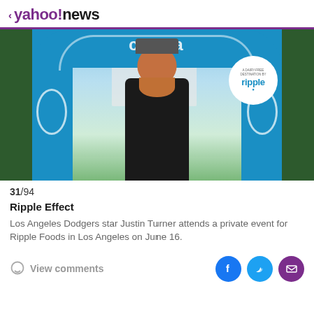< yahoo!news
[Figure (photo): Man with red beard wearing black t-shirt and cap standing in front of a large blue arch branded with 'ripple' dairy-free destination signage, at an outdoor event]
31/94
Ripple Effect
Los Angeles Dodgers star Justin Turner attends a private event for Ripple Foods in Los Angeles on June 16.
View comments